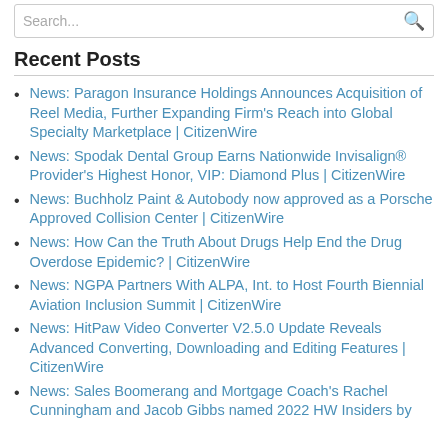Search...
Recent Posts
News: Paragon Insurance Holdings Announces Acquisition of Reel Media, Further Expanding Firm's Reach into Global Specialty Marketplace | CitizenWire
News: Spodak Dental Group Earns Nationwide Invisalign® Provider's Highest Honor, VIP: Diamond Plus | CitizenWire
News: Buchholz Paint & Autobody now approved as a Porsche Approved Collision Center | CitizenWire
News: How Can the Truth About Drugs Help End the Drug Overdose Epidemic? | CitizenWire
News: NGPA Partners With ALPA, Int. to Host Fourth Biennial Aviation Inclusion Summit | CitizenWire
News: HitPaw Video Converter V2.5.0 Update Reveals Advanced Converting, Downloading and Editing Features | CitizenWire
News: Sales Boomerang and Mortgage Coach's Rachel Cunningham and Jacob Gibbs named 2022 HW Insiders by